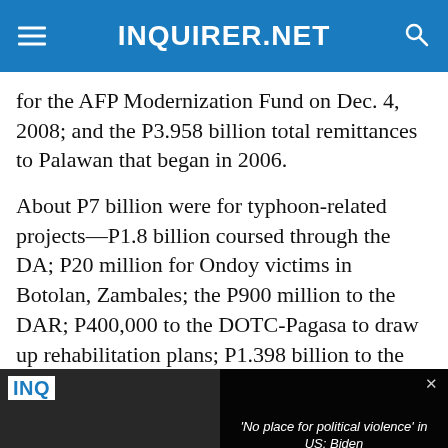INQUIRER.NET
for the AFP Modernization Fund on Dec. 4, 2008; and the P3.958 billion total remittances to Palawan that began in 2006.
About P7 billion were for typhoon-related projects—P1.8 billion coursed through the DA; P20 million for Ondoy victims in Botolan, Zambales; the P900 million to the DAR; P400,000 to the DOTC-Pagasa to draw up rehabilitation plans; P1.398 billion to the
[Figure (screenshot): Video player overlay showing error message 'The media could not be loaded, either because the server or network failed or because the format is not supported.' with a related story title 'No place for political violence in US: Biden' and a close button X at the bottom.]